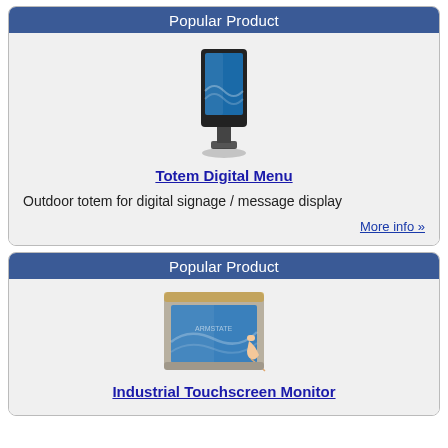Popular Product
[Figure (illustration): Outdoor digital totem / kiosk with blue screen display on a black stand]
Totem Digital Menu
Outdoor totem for digital signage / message display
More info »
Popular Product
[Figure (illustration): Industrial touchscreen monitor with beige/grey bezel and a hand pointing at the screen]
Industrial Touchscreen Monitor